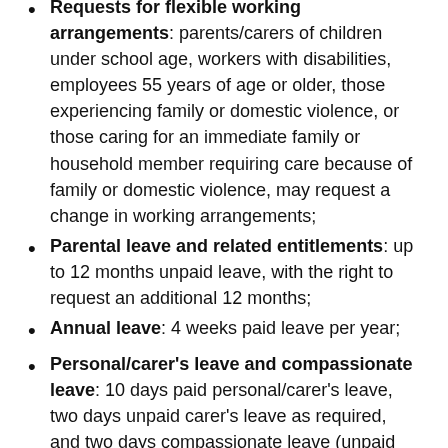Requests for flexible working arrangements: parents/carers of children under school age, workers with disabilities, employees 55 years of age or older, those experiencing family or domestic violence, or those caring for an immediate family or household member requiring care because of family or domestic violence, may request a change in working arrangements;
Parental leave and related entitlements: up to 12 months unpaid leave, with the right to request an additional 12 months;
Annual leave: 4 weeks paid leave per year;
Personal/carer's leave and compassionate leave: 10 days paid personal/carer's leave, two days unpaid carer's leave as required, and two days compassionate leave (unpaid for casual workers);
Community service leave: unpaid leave for